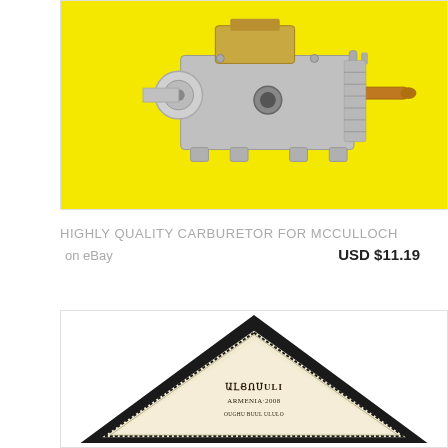[Figure (photo): A carburetor for McCulloch chainsaw, metallic silver and gold colored, photographed against a bright yellow background.]
HIGHLY QUALITY CARBURETOR FOR MCCULLOCH
on eBay
USD $11.19
[Figure (photo): A triangular diamond-shaped label or badge with black border and decorative lace-like pattern, with text in Armenian script reading 'ARMENIA 2008'.]